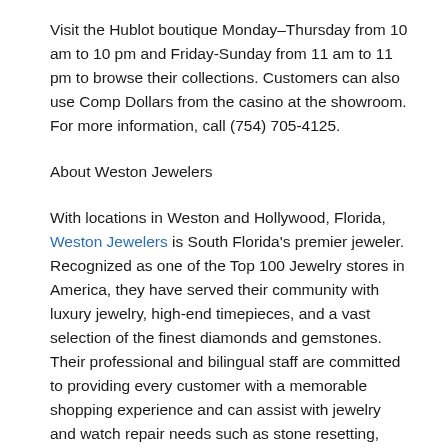Visit the Hublot boutique Monday–Thursday from 10 am to 10 pm and Friday-Sunday from 11 am to 11 pm to browse their collections. Customers can also use Comp Dollars from the casino at the showroom. For more information, call (754) 705-4125.
About Weston Jewelers
With locations in Weston and Hollywood, Florida, Weston Jewelers is South Florida's premier jeweler. Recognized as one of the Top 100 Jewelry stores in America, they have served their community with luxury jewelry, high-end timepieces, and a vast selection of the finest diamonds and gemstones. Their professional and bilingual staff are committed to providing every customer with a memorable shopping experience and can assist with jewelry and watch repair needs such as stone resetting, battery replacement, and more. For more information, visit